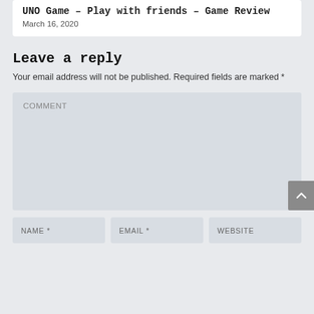UNO Game – Play with friends – Game Review
March 16, 2020
Leave a reply
Your email address will not be published. Required fields are marked *
COMMENT
NAME *
EMAIL *
WEBSITE